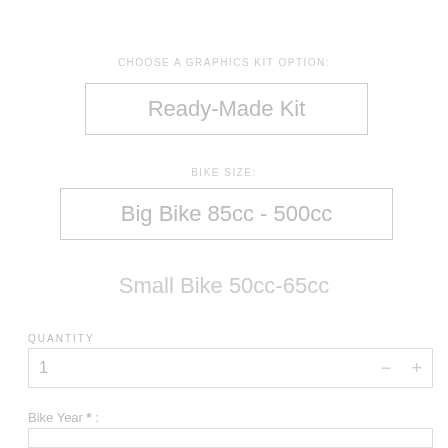CHOOSE A GRAPHICS KIT OPTION:
Ready-Made Kit
BIKE SIZE:
Big Bike 85cc - 500cc
Small Bike 50cc-65cc
QUANTITY
1
−
+
Bike Year *: